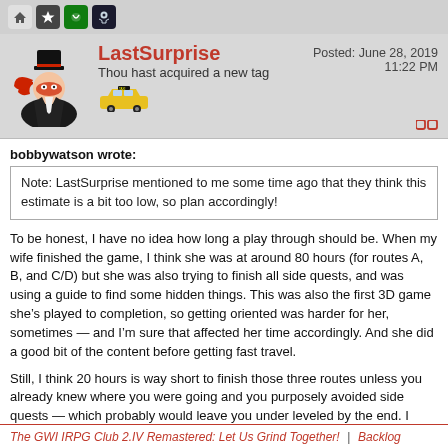Navigation icons: home, star/achievements, Xbox, Steam
LastSurprise
Thou hast acquired a new tag
Posted: June 28, 2019 11:22 PM
bobbywatson wrote:
Note: LastSurprise mentioned to me some time ago that they think this estimate is a bit too low, so plan accordingly!
To be honest, I have no idea how long a play through should be. When my wife finished the game, I think she was at around 80 hours (for routes A, B, and C/D) but she was also trying to finish all side quests, and was using a guide to find some hidden things. This was also the first 3D game she’s played to completion, so getting oriented was harder for her, sometimes — and I’m sure that affected her time accordingly. And she did a good bit of the content before getting fast travel.
Still, I think 20 hours is way short to finish those three routes unless you already knew where you were going and you purposely avoided side quests — which probably would leave you under leveled by the end. I think 30-40 is more realistic.
The GWI IRPG Club 2.IV Remastered: Let Us Grind Together! | Backlog